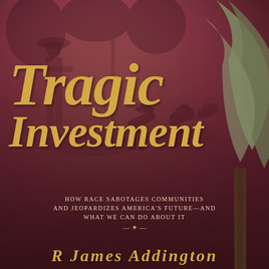[Figure (illustration): Book cover background: sepia/mauve toned historical engraving of field workers with a man in a wide-brimmed hat overseeing them, with a large green plant on the right side.]
Tragic Investment
HOW RACE SABOTAGES COMMUNITIES AND JEOPARDIZES AMERICA'S FUTURE—AND WHAT WE CAN DO ABOUT IT
R JAMES ADDINGTON